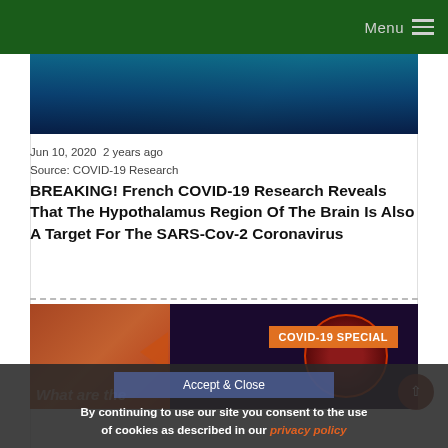Menu ≡
[Figure (photo): Blue-toned medical/brain scan image at the top of the article]
Jun 10, 2020  2 years ago
Source: COVID-19 Research
BREAKING! French COVID-19 Research Reveals That The Hypothalamus Region Of The Brain Is Also A Target For The SARS-Cov-2 Coronavirus
[Figure (screenshot): COVID-19 Special video thumbnail showing coronavirus imagery with 'COVID-19 SPECIAL' banner and 'What are the' text overlay]
By continuing to use our site you consent to the use of cookies as described in our privacy policy